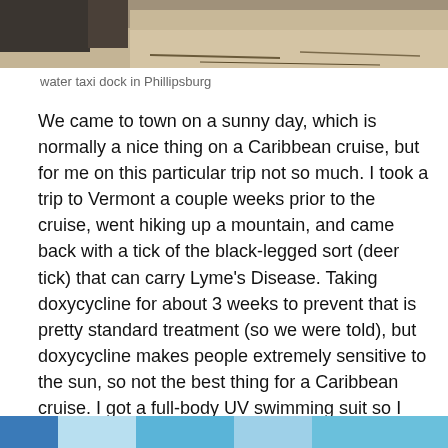[Figure (photo): Partial view of a beach/dock scene — sand and water taxi dock area in Phillipsburg]
water taxi dock in Phillipsburg
We came to town on a sunny day, which is normally a nice thing on a Caribbean cruise, but for me on this particular trip not so much. I took a trip to Vermont a couple weeks prior to the cruise, went hiking up a mountain, and came back with a tick of the black-legged sort (deer tick) that can carry Lyme's Disease. Taking doxycycline for about 3 weeks to prevent that is pretty standard treatment (so we were told), but doxycycline makes people extremely sensitive to the sun, so not the best thing for a Caribbean cruise. I got a full-body UV swimming suit so I could still go snorkeling this trip, but that was the plan for other ports rather than this one.
[Figure (photo): Partial view of a bright blue water/beach scene at the bottom of the page]